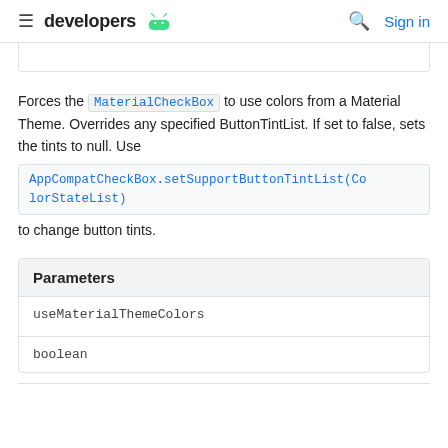≡ developers [android] Q Sign in
Forces the MaterialCheckBox to use colors from a Material Theme. Overrides any specified ButtonTintList. If set to false, sets the tints to null. Use AppCompatCheckBox.setSupportButtonTintList(ColorStateList) to change button tints.
| Parameters |
| --- |
| useMaterialThemeColors |
| boolean |